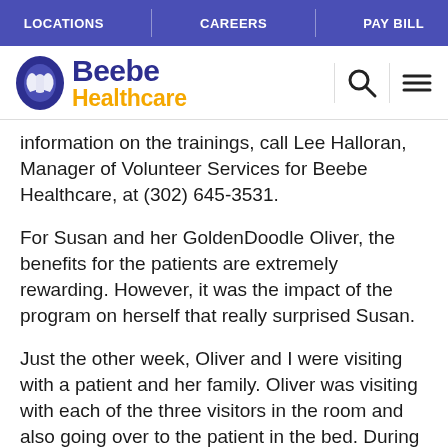LOCATIONS | CAREERS | PAY BILL
[Figure (logo): Beebe Healthcare logo with stylized hands icon, 'Beebe' in dark blue and 'Healthcare' in gold/yellow]
information on the trainings, call Lee Halloran, Manager of Volunteer Services for Beebe Healthcare, at (302) 645-3531.
For Susan and her GoldenDoodle Oliver, the benefits for the patients are extremely rewarding. However, it was the impact of the program on herself that really surprised Susan.
Just the other week, Oliver and I were visiting with a patient and her family. Oliver was visiting with each of the three visitors in the room and also going over to the patient in the bed. During one of his trips to the bed, Susan leaned over the patient, and a flicker